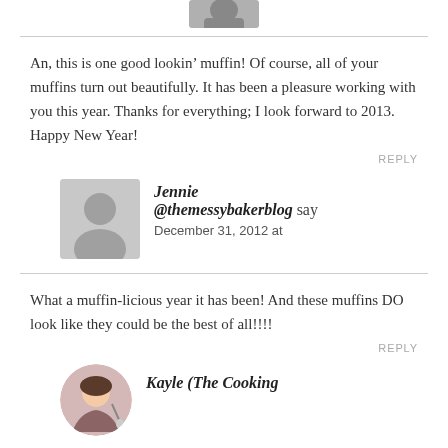[Figure (photo): Partial avatar photo at top of page, cropped]
An, this is one good lookin’ muffin! Of course, all of your muffins turn out beautifully. It has been a pleasure working with you this year. Thanks for everything; I look forward to 2013. Happy New Year!
REPLY
[Figure (photo): Gray placeholder avatar silhouette for Jennie @themessybakerblog]
Jennie @themessybakerblog say
December 31, 2012 at
What a muffin-licious year it has been! And these muffins DO look like they could be the best of all!!!!
REPLY
[Figure (illustration): Cartoon/illustrated avatar for Kayle (The Cooking...)]
Kayle (The Cooking